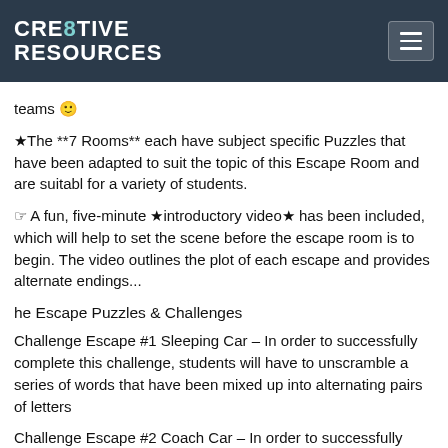CRE8TIVE RESOURCES
teams 🙂
★The **7 Rooms** each have subject specific Puzzles that have been adapted to suit the topic of this Escape Room and are suitable for a variety of students.
☞ A fun, five-minute ★introductory video★ has been included, which will help to set the scene before the escape room is to begin. The video outlines the plot of each escape and provides alternate endings...
he Escape Puzzles & Challenges
Challenge Escape #1 Sleeping Car – In order to successfully complete this challenge, students will have to unscramble a series of words that have been mixed up into alternating pairs of letters
Challenge Escape #2 Coach Car – In order to successfully complete this challenge, students will have to match up the correct pairs of information to find the connections that is given to students along this